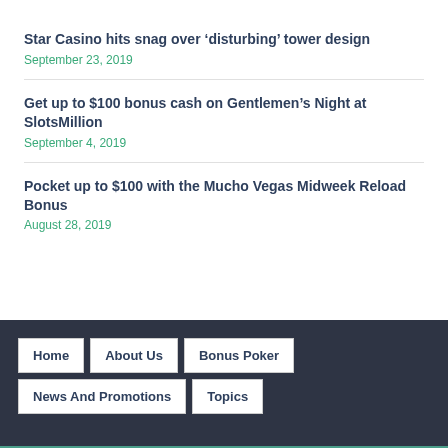Star Casino hits snag over ‘disturbing’ tower design
September 23, 2019
Get up to $100 bonus cash on Gentlemen’s Night at SlotsMillion
September 4, 2019
Pocket up to $100 with the Mucho Vegas Midweek Reload Bonus
August 28, 2019
Home | About Us | Bonus Poker | News And Promotions | Topics